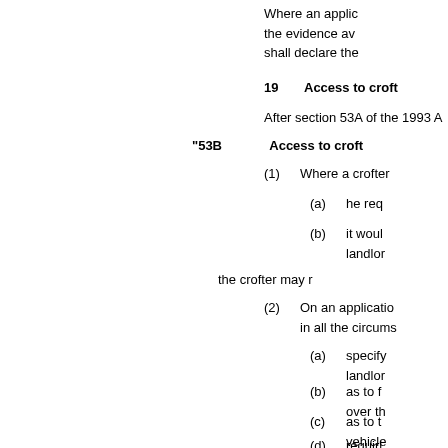Where an applic the evidence av shall declare the
19    Access to croft
After section 53A of the 1993 A
"53B    Access to croft
(1)   Where a crofter
(a)   he req
(b)   it woul landlor
the crofter may r
(2)   On an applicatio in all the circums
(a)   specify landlor
(b)   as to f over th
(c)   as to t vehicle
(d)   requiri